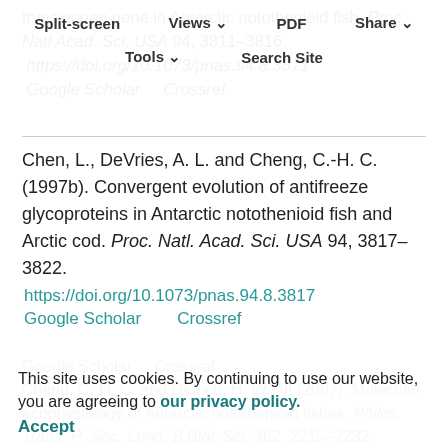Split-screen  Views  PDF  Share  Tools  Search Site
trypsinogen gene in Antarctic notothenioid fish. Proc. Natl Acad. Sci. USA 94, 3811–3816.
https://doi.org/10.1073/pnas.94.8.3811
Google Scholar   Crossref
Chen, L., DeVries, A. L. and Cheng, C.-H. C. (1997b). Convergent evolution of antifreeze glycoproteins in Antarctic notothenioid fish and Arctic cod. Proc. Natl. Acad. Sci. USA 94, 3817–3822.
https://doi.org/10.1073/pnas.94.8.3817
Google Scholar   Crossref
Cheng, C.-H. C. and Chen, L. (1999). Evolution of an antifreeze glycoprotein. Nature 401, 443–444.
https://doi.org/10.1038/46721
Google Scholar   Crossref
Cheng, C.-H. C. and Detrich, H. W., III (2007). Molecular ecophysiology of Antarctic notothenioid fishes. Philos. Trans. R. Soc. Lond. B Biol. Sci. 362, 2215–2232.
This site uses cookies. By continuing to use our website, you are agreeing to our privacy policy.
Accept